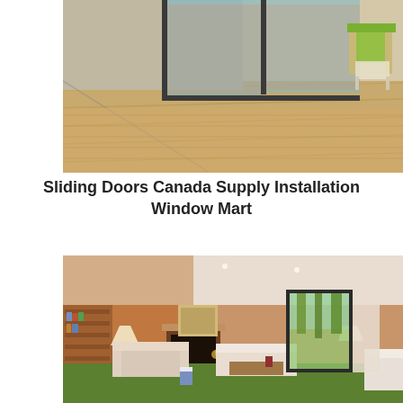[Figure (photo): Exterior view of a modern home with large sliding glass doors opening onto a wooden deck. A green chair is visible on the right side.]
Sliding Doors Canada Supply Installation Window Mart
[Figure (photo): Interior view of a living room with wooden paneled walls, bookshelf, fireplace, comfortable white sofas on a green carpet, and large sliding glass doors opening to a garden with trees.]